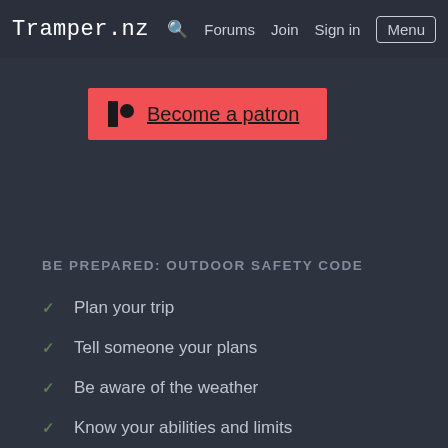Tramper.nz  🔍  Forums  Join  Sign in  Menu
Tramper.nz relies on the generosity of visitors like like Find out more over at Patreon
[Figure (other): Red Patreon button with Patreon logo icon and underlined text 'Become a patron']
BE PREPARED: OUTDOOR SAFETY CODE
Plan your trip
Tell someone your plans
Be aware of the weather
Know your abilities and limits
Take sufficient supplies